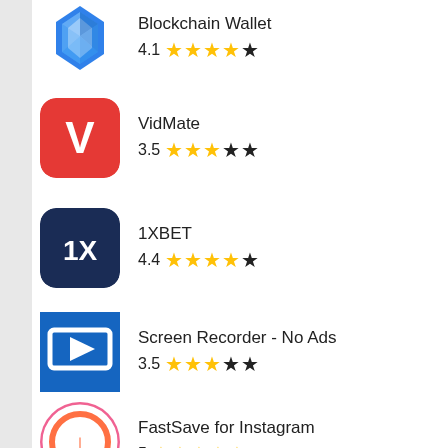Blockchain Wallet 4.1 ★★★★☆
VidMate 3.5 ★★★☆★
1XBET 4.4 ★★★★☆
Screen Recorder - No Ads 3.5 ★★★☆★
FastSave for Instagram 5 ★★★★★
Story Saver for Instagram 0 ☆★★★★